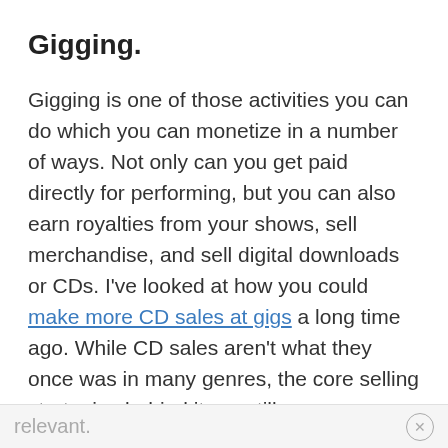Gigging.
Gigging is one of those activities you can do which you can monetize in a number of ways. Not only can you get paid directly for performing, but you can also earn royalties from your shows, sell merchandise, and sell digital downloads or CDs. I've looked at how you could make more CD sales at gigs a long time ago. While CD sales aren't what they once was in many genres, the core selling strategies behind it are still relevant.